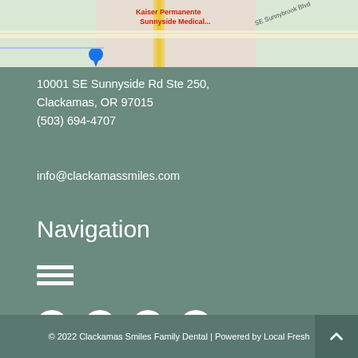[Figure (map): Google Maps screenshot showing Kaiser Permanente Sunnyside Medical Center area near SE Sunnybrook Blvd in Clackamas, OR]
10001 SE Sunnyside Rd Ste 250,
Clackamas, OR 97015
(503) 694-4707
info@clackamassmiles.com
Navigation
[Figure (infographic): Hamburger menu icon (three horizontal lines)]
[Figure (infographic): Social media icons: Facebook, Google, Yelp, Instagram]
© 2022 Clackamas Smiles Family Dental | Powered by Local Fresh